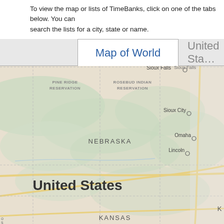To view the map or lists of TimeBanks, click on one of the tabs below. You can search the lists for a city, state or name.
[Figure (map): Map showing the central United States region including Nebraska, Kansas, and surrounding areas with cities Sioux Falls, Sioux City, Omaha, Lincoln labeled. Tabs at top show 'Map of World' (active) and 'United States' (inactive).]